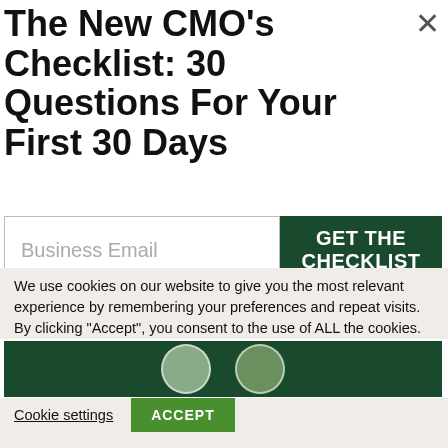The New CMO's Checklist: 30 Questions For Your First 30 Days
Business Email
GET THE CHECKLIST
*We'll also send you valuable communications from time to time. You can unsubscribe at any time and we do not sell the list.
[Figure (photo): Dark green banner with circular avatar portraits]
We use cookies on our website to give you the most relevant experience by remembering your preferences and repeat visits. By clicking "Accept", you consent to the use of ALL the cookies.
Cookie settings
ACCEPT